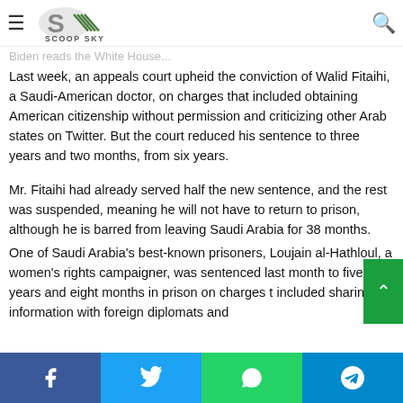Scoop Sky – navigation header with logo, hamburger menu, and search icon
Biden reads the White House...
Last week, an appeals court upheld the conviction of Walid Fitaihi, a Saudi-American doctor, on charges that included obtaining American citizenship without permission and criticizing other Arab states on Twitter. But the court reduced his sentence to three years and two months, from six years.
Mr. Fitaihi had already served half the new sentence, and the rest was suspended, meaning he will not have to return to prison, although he is barred from leaving Saudi Arabia for 38 months.
One of Saudi Arabia's best-known prisoners, Loujain al-Hathloul, a women's rights campaigner, was sentenced last month to five years and eight months in prison on charges that included sharing information with foreign diplomats and...
Facebook | Twitter | WhatsApp | Telegram social sharing bar